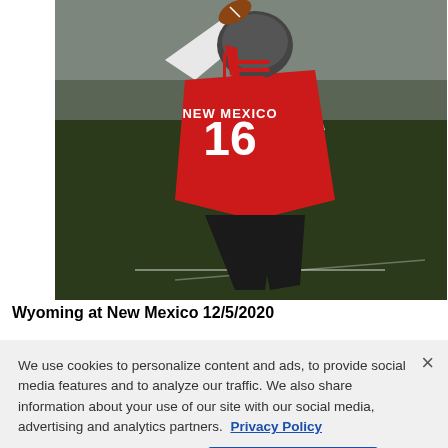[Figure (photo): Football player wearing New Mexico #16 red jersey and red helmet, winding up to throw a pass on a dark field]
Wyoming at New Mexico 12/5/2020
We use cookies to personalize content and ads, to provide social media features and to analyze our traffic. We also share information about your use of our site with our social media, advertising and analytics partners. Privacy Policy
Cookies Settings | Accept All Cookies